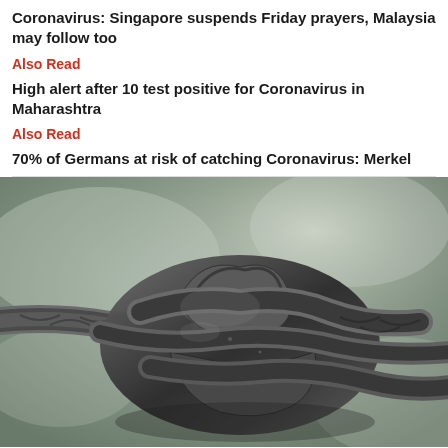Coronavirus: Singapore suspends Friday prayers, Malaysia may follow too
Also Read
High alert after 10 test positive for Coronavirus in Maharashtra
Also Read
70% of Germans at risk of catching Coronavirus: Merkel
[Figure (photo): Close-up photograph of a thick knotted gray rope against a blurred gray/green background]